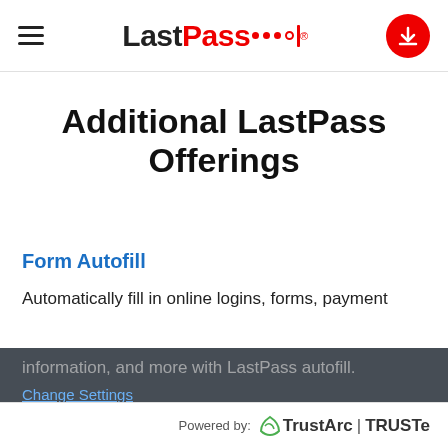LastPass — hamburger menu and download button
Additional LastPass Offerings
Form Autofill
Automatically fill in online logins, forms, payment information, and more with LastPass autofill.
Change Settings
Accept Recommended Settings
LastPass monitors third party data breaches in one
Powered by: TrustArc | TRUSTe